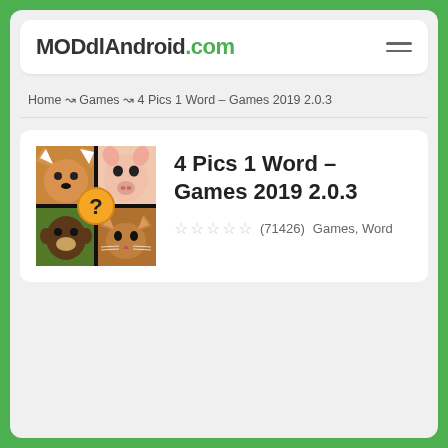MODdlAndroid.com
Home ↝ Games ↝ 4 Pics 1 Word – Games 2019 2.0.3
4 Pics 1 Word – Games 2019 2.0.3
☆☆☆☆☆ (71426)  Games, Word